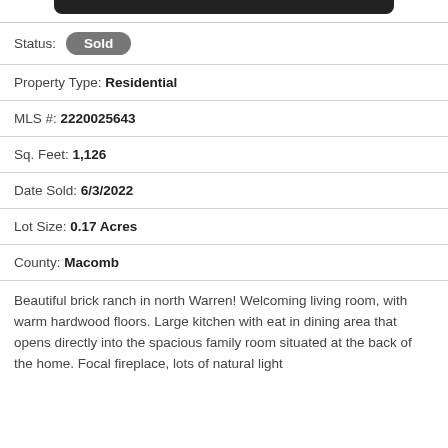[Figure (other): Black rounded rectangle bar at top (header image/logo area)]
Status: Sold
Property Type: Residential
MLS #: 2220025643
Sq. Feet: 1,126
Date Sold: 6/3/2022
Lot Size: 0.17 Acres
County: Macomb
Beautiful brick ranch in north Warren! Welcoming living room, with warm hardwood floors. Large kitchen with eat in dining area that opens directly into the spacious family room situated at the back of the home. Focal fireplace, lots of natural light